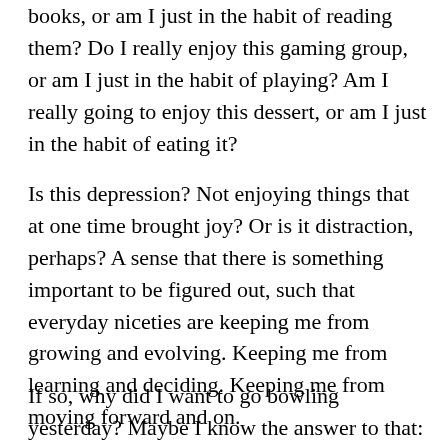books, or am I just in the habit of reading them? Do I really enjoy this gaming group, or am I just in the habit of playing? Am I really going to enjoy this dessert, or am I just in the habit of eating it?
Is this depression? Not enjoying things that at one time brought joy? Or is it distraction, perhaps? A sense that there is something important to be figured out, such that everyday niceties are keeping me from growing and evolving. Keeping me from learning and deciding. Keeping me from moving forward and on.
If so, why did I want to go bowling yesterday? Maybe I know the answer to that: Yesterday was different. Yesterday I can't remember the answer to.